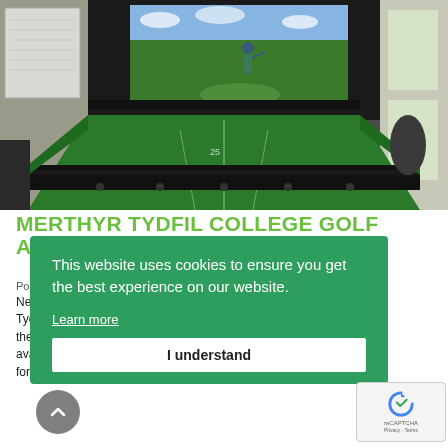[Figure (photo): Indoor golf simulator room with green turf track, a golfer at the far end swinging in front of a large screen showing a golf course, whiteboard on the left wall, black frame structure around the hitting area.]
MERTHYR TYDFIL COLLEGE GOLF ACADEMY
Post ...
Neil Matthews, Welsh National Coach, works for Merthyr Tydfil College on a part time basis coaching students on the colleges golf courses. ... had a room which w available for a golf studio and Neil asked Golf Swing S... for our input.
This website uses cookies to ensure you get the best experience on our website.
Learn more
I understand